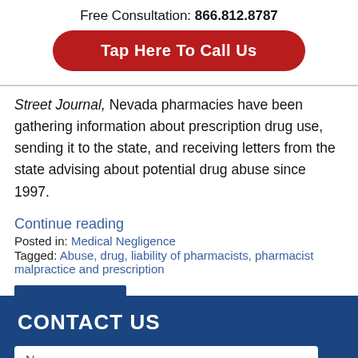Free Consultation: 866.812.8787
Tap Here To Call Us
Street Journal, Nevada pharmacies have been gathering information about prescription drug use, sending it to the state, and receiving letters from the state advising about potential drug abuse since 1997.
Continue reading
Posted in: Medical Negligence
Tagged: Abuse, drug, liability of pharmacists, pharmacist malpractice and prescription
CONTACT US
Name: